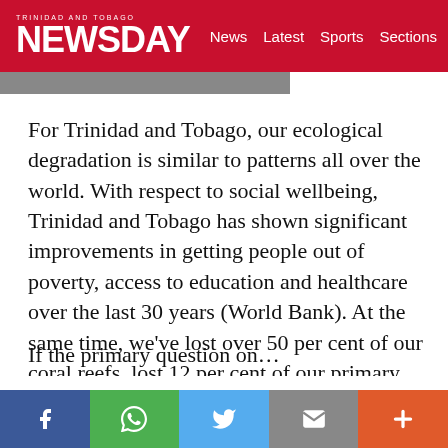TRINIDAD AND TOBAGO NEWSDAY — News  Latest  Sports  Sections
For Trinidad and Tobago, our ecological degradation is similar to patterns all over the world. With respect to social wellbeing, Trinidad and Tobago has shown significant improvements in getting people out of poverty, access to education and healthcare over the last 30 years (World Bank). At the same time, we've lost over 50 per cent of our coral reefs, lost 12 per cent of our primary forest, lost seagrass beds in the Western peninsula, and lost or degraded the mangrove forests.
If the primary question…
Facebook  WhatsApp  Twitter  Email  More